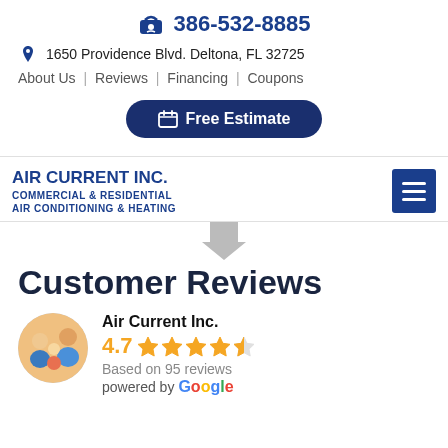386-532-8885
1650 Providence Blvd. Deltona, FL 32725
About Us | Reviews | Financing | Coupons
Free Estimate
[Figure (logo): Air Current Inc. logo with text: AIR CURRENT INC. COMMERCIAL & RESIDENTIAL AIR CONDITIONING & HEATING, with a hamburger menu icon on the right]
Customer Reviews
Air Current Inc. 4.7 Based on 95 reviews powered by Google